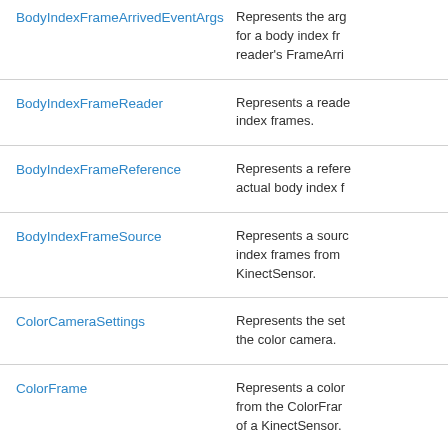| Class | Description |
| --- | --- |
| BodyIndexFrameArrivedEventArgs | Represents the arg for a body index fr reader's FrameArri |
| BodyIndexFrameReader | Represents a reade index frames. |
| BodyIndexFrameReference | Represents a refere actual body index f |
| BodyIndexFrameSource | Represents a sourc index frames from KinectSensor. |
| ColorCameraSettings | Represents the set the color camera. |
| ColorFrame | Represents a color from the ColorFram of a KinectSensor. |
| ColorFrameArrivedEventArgs | Represents the arg |